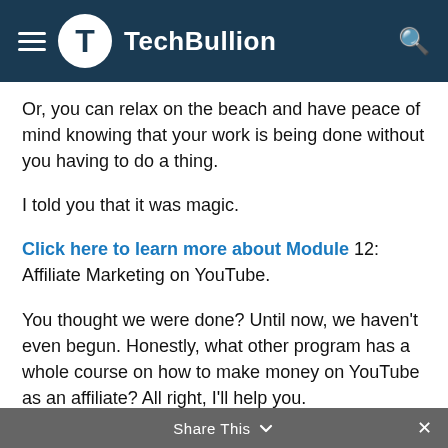TechBullion
Or, you can relax on the beach and have peace of mind knowing that your work is being done without you having to do a thing.
I told you that it was magic.
Click here to learn more about Module 12: Affiliate Marketing on YouTube.
You thought we were done? Until now, we haven't even begun. Honestly, what other program has a whole course on how to make money on YouTube as an affiliate? All right, I'll help you.
With Google AdSense, you've learned everything you need to know about making money with ads. Now, it's time to learn about other ways to make money on your channels
Share This ×